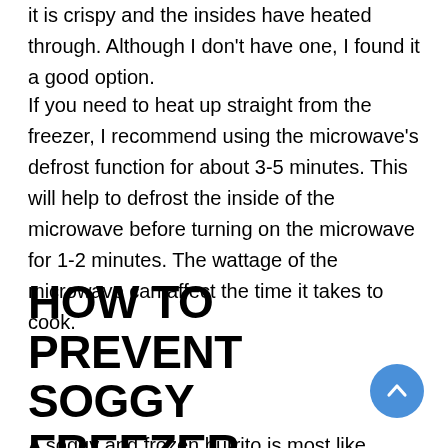it is crispy and the insides have heated through. Although I don't have one, I found it a good option.
If you need to heat up straight from the freezer, I recommend using the microwave's defrost function for about 3-5 minutes. This will help to defrost the inside of the microwave before turning on the microwave for 1-2 minutes. The wattage of the microwave can affect the time it takes to cook.
HOW TO PREVENT SOGGY FREEZER BURRITO
A soggy and frozen burrito is most likely due to...